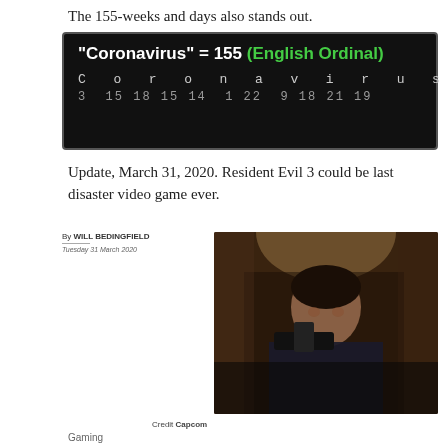The 155-weeks and days also stands out.
[Figure (infographic): Dark background infographic showing 'Coronavirus' = 155 (English Ordinal) with letter-by-letter number breakdown: C=3, o=15, r=18, o=15, n=14, a=1, v=22, i=9, r=18, u=21, s=19, total=155]
Update, March 31, 2020. Resident Evil 3 could be last disaster video game ever.
[Figure (screenshot): Article screenshot with byline 'By WILL BEDINGFIELD, Tuesday 31 March 2020' and a photo of a woman holding a gun from Resident Evil 3, credit Capcom]
Credit Capcom
Gaming
Resident Evil 3 could be...